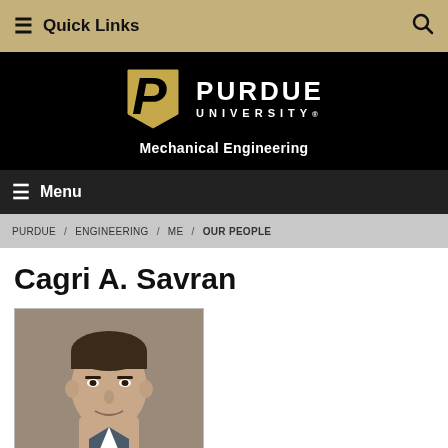☰ Quick Links   🔍
[Figure (logo): Purdue University logo with stylized P and text 'PURDUE UNIVERSITY' on black background, with 'Mechanical Engineering' subtitle]
☰ Menu
PURDUE / ENGINEERING / ME / OUR PEOPLE
Cagri A. Savran
[Figure (photo): Headshot photo of Cagri A. Savran, a man with short dark hair against a neutral background]